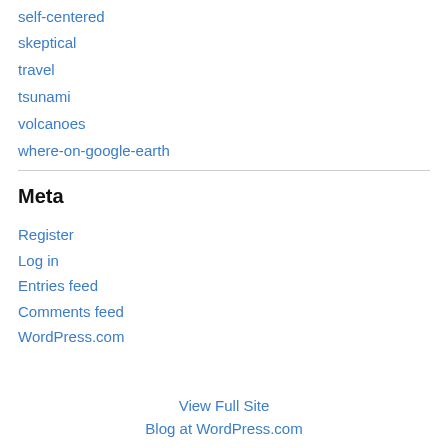self-centered
skeptical
travel
tsunami
volcanoes
where-on-google-earth
Meta
Register
Log in
Entries feed
Comments feed
WordPress.com
View Full Site
Blog at WordPress.com